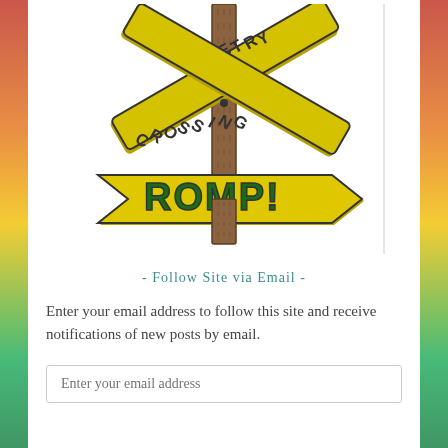[Figure (logo): Railroad crossing sign style logo with two crossed yellow boards reading 'POETRY CROSSING' and a yellow arrow sign below reading 'ROMP!' in dark green bold letters with a wooden post]
- Follow Site via Email -
Enter your email address to follow this site and receive notifications of new posts by email.
Enter your email address